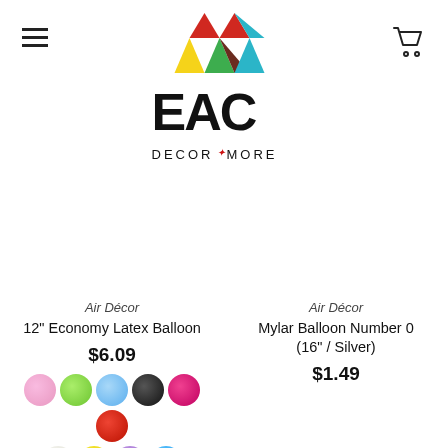[Figure (logo): EAC Decor + More logo with colorful geometric triangles above stylized EAC text and tagline DECOR + MORE]
Air Décor
12" Economy Latex Balloon
$6.09
[Figure (illustration): Color swatches for balloon: pink, green, light blue, black, magenta/dark pink, red (row 1); white/cream, yellow, purple, sky blue (row 2)]
Air Décor
Mylar Balloon Number 0 (16" / Silver)
$1.49